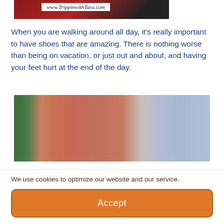[Figure (photo): Partial photo of a person's leg with a blurred Disney castle-like structure in the background, watermarked with www.TrippinwithTara.com]
When you are walking around all day, it's really important to have shoes that are amazing. There is nothing worse than being on vacation, or just out and about, and having your feet hurt at the end of the day.
[Figure (photo): Close-up photo of a person's sunburned leg with a blurred Disney castle-like structure visible in the background on the right.]
We use cookies to optimize our website and our service.
Accept